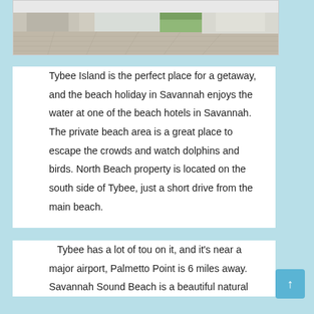[Figure (photo): Outdoor walkway or plaza area with stone/tile paving, pillars, green lawn and shrubs, architectural building elements in background]
Tybee Island is the perfect place for a getaway, and the beach holiday in Savannah enjoys the water at one of the beach hotels in Savannah. The private beach area is a great place to escape the crowds and watch dolphins and birds. North Beach property is located on the south side of Tybee, just a short drive from the main beach.
Tybee has a lot of tou on it, and it's near a major airport, Palmetto Point is 6 miles away. Savannah Sound Beach is a beautiful natural